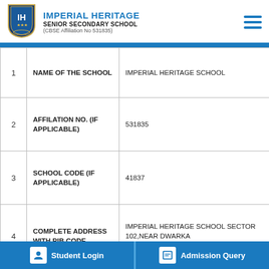[Figure (logo): Imperial Heritage School shield logo with IH initials and stars]
IMPERIAL HERITAGE SENIOR SECONDARY SCHOOL (CBSE Affiliation No 531835)
|  |  |  |
| --- | --- | --- |
| 1 | NAME OF THE SCHOOL | IMPERIAL HERITAGE SCHOOL |
| 2 | AFFILATION NO. (IF APPLICABLE) | 531835 |
| 3 | SCHOOL CODE (IF APPLICABLE) | 41837 |
| 4 | COMPLETE ADDRESS WITH PIB CODE | IMPERIAL HERITAGE SCHOOL SECTOR 102,NEAR DWARKA EXPRESSWAY,GURUGRAM 122505 |
| 5 | PRINCIPAL NAME |  |
Student Login   Admission Query